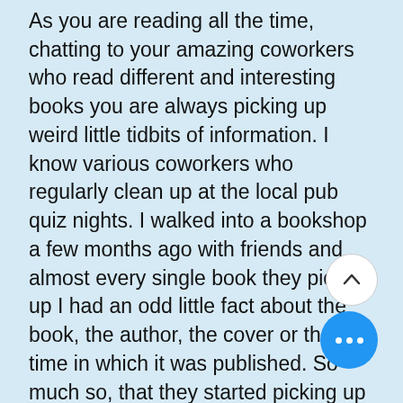As you are reading all the time, chatting to your amazing coworkers who read different and interesting books you are always picking up weird little tidbits of information. I know various coworkers who regularly clean up at the local pub quiz nights. I walked into a bookshop a few months ago with friends and almost every single book they picked up I had an odd little fact about the book, the author, the cover or the time in which it was published. So much so, that they started picking up random books to test me. All of them were very impressed with my knowledge, but if I'm going to be honest, it's fairly normal from my point of view from my years of working at independent bookshops.